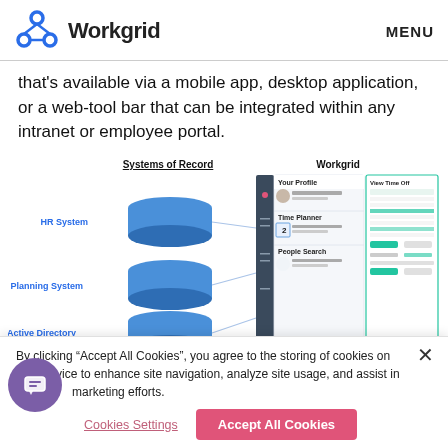Workgrid   MENU
that's available via a mobile app, desktop application, or a web-tool bar that can be integrated within any intranet or employee portal.
[Figure (infographic): Diagram showing Systems of Record (HR System, Planning System, Active Directory) as blue cylinders on the left connected by lines to Workgrid UI panels on the right showing Your Profile, Time Planner, and People Search screens.]
By clicking “Accept All Cookies”, you agree to the storing of cookies on your device to enhance site navigation, analyze site usage, and assist in our marketing efforts.
Cookies Settings   Accept All Cookies